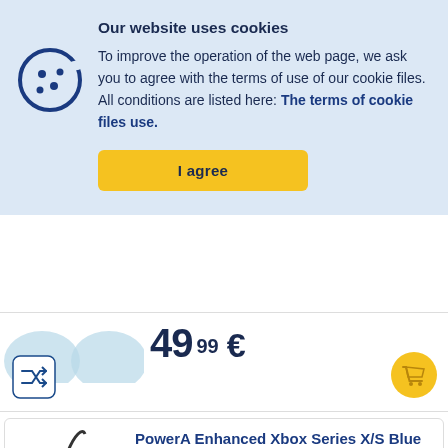Our website uses cookies
To improve the operation of the web page, we ask you to agree with the terms of use of our cookie files. All conditions are listed here: The terms of cookie files use.
I agree
49 99 €
PowerA Enhanced Xbox Series X/S Blue Hint - Gamepad
617885024900
in stock